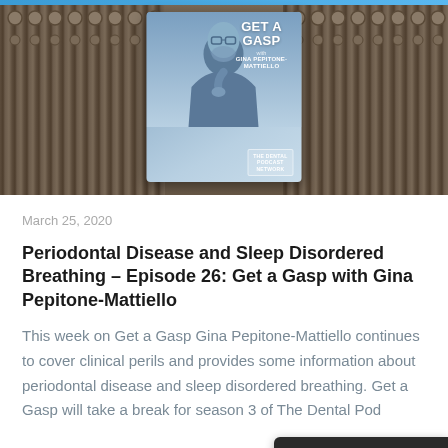[Figure (photo): Hero image showing a music mixing board/console with the 'Get a Gasp with Gina Pepitone-Mattiello' podcast cover art overlaid in the center. The podcast card shows a person holding their throat and the text 'GET A GASP with GINA PEPITONE-MATTIELLO' and 'THE DENTAL PODCAST NETWORK'.]
March 25, 2020
Periodontal Disease and Sleep Disordered Breathing – Episode 26: Get a Gasp with Gina Pepitone-Mattiello
This week on Get a Gasp Gina Pepitone-Mattiello continues to cover clinical perils and provides some information about periodontal disease and sleep disordered breathing. Get a Gasp will take a break for season 3 of The Dental Pod... you have questions for Gina please contact